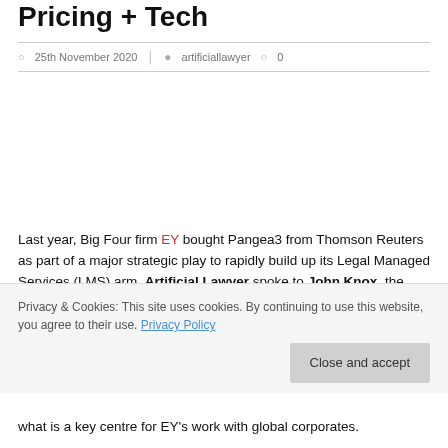Pricing + Tech
25th November 2020 · artificiallawyer · 0
Last year, Big Four firm EY bought Pangea3 from Thomson Reuters as part of a major strategic play to rapidly build up its Legal Managed Services (LMS) arm. Artificial Lawyer spoke to John Knox, the new head of the LMS group about its business
Privacy & Cookies: This site uses cookies. By continuing to use this website, you agree to their use. Privacy Policy
what is a key centre for EY's work with global corporates.